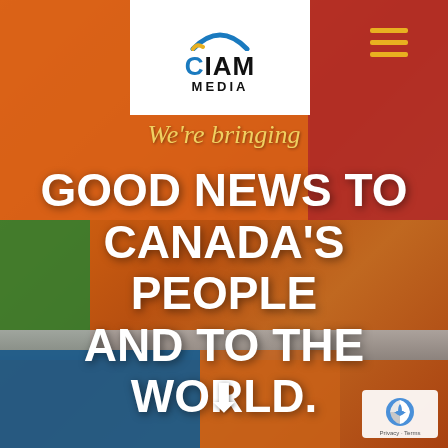[Figure (photo): Background photo of colorful painted wall blocks (orange, red, green, blue, tan) with a dark thermos/flask lying on a stone ledge, taken in an outdoor urban setting.]
CIAM MEDIA
We're bringing
GOOD NEWS TO CANADA'S PEOPLE AND TO THE WORLD.
[Figure (logo): reCAPTCHA logo badge in bottom right corner with Privacy and Terms text.]